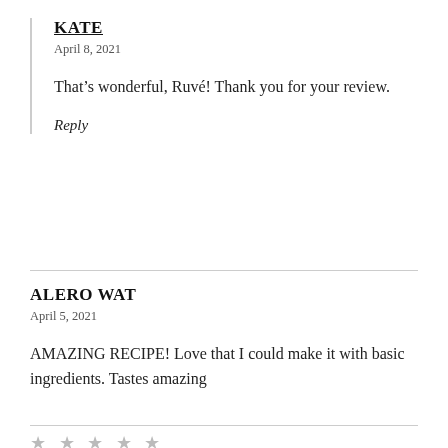KATE
April 8, 2021
That’s wonderful, Ruvé! Thank you for your review.
Reply
ALERO WAT
April 5, 2021
AMAZING RECIPE! Love that I could make it with basic ingredients. Tastes amazing
★ ★ ★ ★ ★